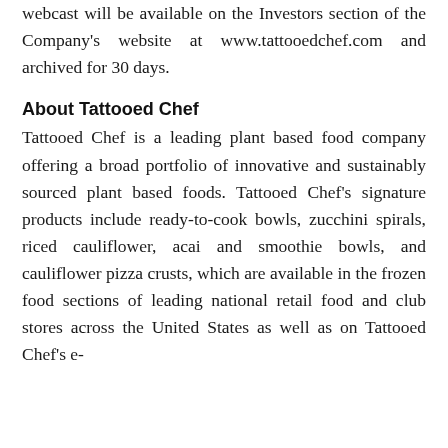webcast will be available on the Investors section of the Company's website at www.tattooedchef.com and archived for 30 days.
About Tattooed Chef
Tattooed Chef is a leading plant based food company offering a broad portfolio of innovative and sustainably sourced plant based foods. Tattooed Chef's signature products include ready-to-cook bowls, zucchini spirals, riced cauliflower, acai and smoothie bowls, and cauliflower pizza crusts, which are available in the frozen food sections of leading national retail food and club stores across the United States as well as on Tattooed Chef's e-